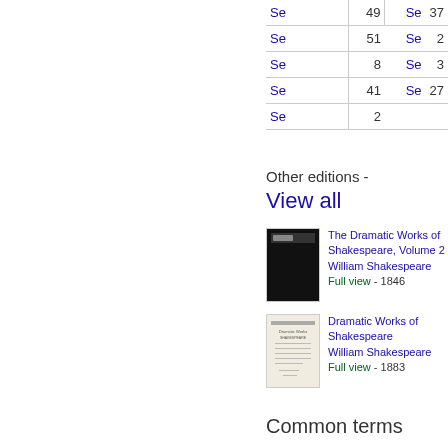| Se | 49 | Se | 37 |
| Se | 51 | Se | 2 |
| Se | 8 | Se | 3 |
| Se | 41 | Se | 27 |
| Se | 2 |  |  |
Other editions - View all
[Figure (photo): Black book cover thumbnail for The Dramatic Works of Shakespeare, Volume 2]
The Dramatic Works of Shakespeare, Volume 2 William Shakespeare Full view - 1846
[Figure (photo): Light-colored book cover thumbnail for Dramatic Works of Shakespeare]
Dramatic Works of Shakespeare William Shakespeare Full view - 1883
Common terms